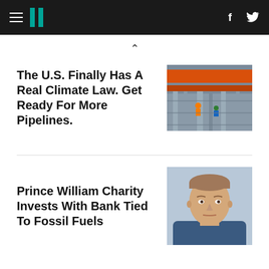HuffPost navigation bar with logo, hamburger menu, Facebook and Twitter icons
The U.S. Finally Has A Real Climate Law. Get Ready For More Pipelines.
[Figure (photo): Industrial pipeline facility with orange pipes and workers in safety gear]
Prince William Charity Invests With Bank Tied To Fossil Fuels
[Figure (photo): Close-up portrait of Prince William looking serious]